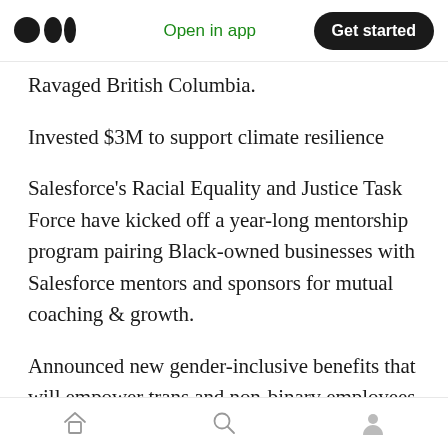Open in app | Get started
Ravaged British Columbia.
Invested $3M to support climate resilience
Salesforce’s Racial Equality and Justice Task Force have kicked off a year-long mentorship program pairing Black-owned businesses with Salesforce mentors and sponsors for mutual coaching & growth.
Announced new gender-inclusive benefits that will empower trans and non-binary employees to bring their authentic selves to work every day:
Home | Search | Profile